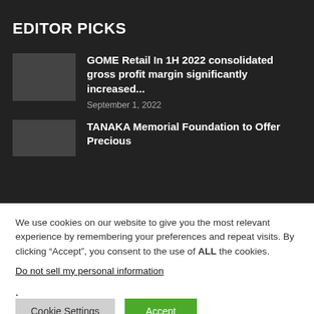EDITOR PICKS
GOME Retail In 1H 2022 consolidated gross profit margin significantly increased...
September 1, 2022
TANAKA Memorial Foundation to Offer Precious
We use cookies on our website to give you the most relevant experience by remembering your preferences and repeat visits. By clicking “Accept”, you consent to the use of ALL the cookies.
Do not sell my personal information.